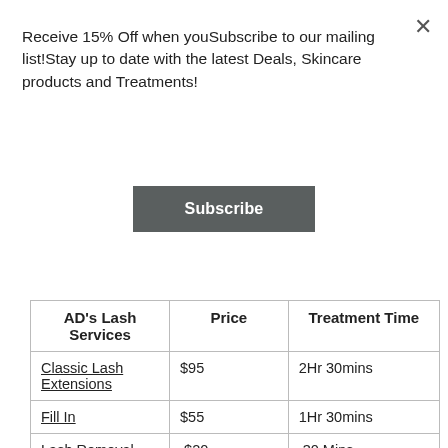Receive 15% Off when youSubscribe to our mailing list!Stay up to date with the latest Deals, Skincare products and Treatments!
Subscribe
| AD's Lash Services | Price | Treatment Time |
| --- | --- | --- |
| Classic Lash Extensions | $95 | 2Hr 30mins |
| Fill In | $55 | 1Hr 30mins |
| Lash Removal | $20 | 30 Mins |
|  |  |  |